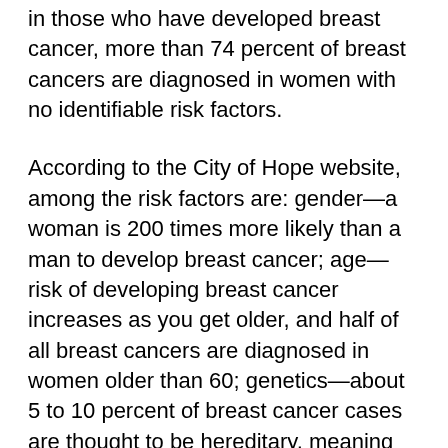in those who have developed breast cancer, more than 74 percent of breast cancers are diagnosed in women with no identifiable risk factors.
According to the City of Hope website, among the risk factors are: gender—a woman is 200 times more likely than a man to develop breast cancer; age—risk of developing breast cancer increases as you get older, and half of all breast cancers are diagnosed in women older than 60; genetics—about 5 to 10 percent of breast cancer cases are thought to be hereditary, meaning that they result directly from gene defects inherited from a parent; family history—risk is higher among women whose close blood relatives have this disease. However, less than 15 percent of women with breast cancer